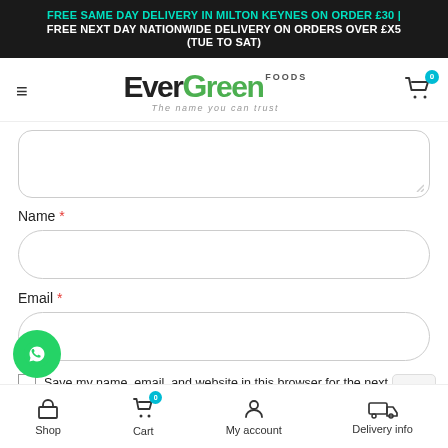FREE SAME DAY DELIVERY IN MILTON KEYNES ON ORDER £30 | FREE NEXT DAY NATIONWIDE DELIVERY ON ORDERS OVER £X5 (TUE TO SAT)
[Figure (logo): EverGreen Foods logo with green leaf motif and tagline 'The name you can trust']
[Figure (screenshot): Website comment form showing: textarea (partially visible), Name field with red asterisk, Email field with red asterisk, checkbox row with text 'Save my name, email, and website in this browser for the next']
Shop | Cart (0) | My account | Delivery info